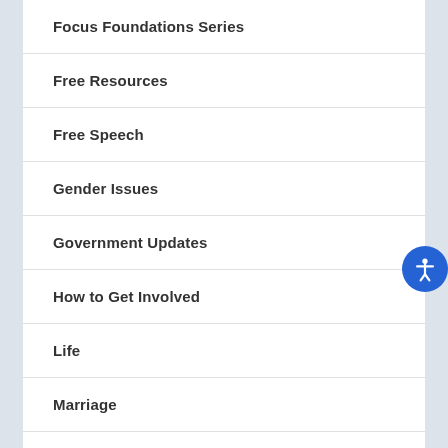Focus Foundations Series
Free Resources
Free Speech
Gender Issues
Government Updates
How to Get Involved
Life
Marriage
Opinion
Religious Freedom